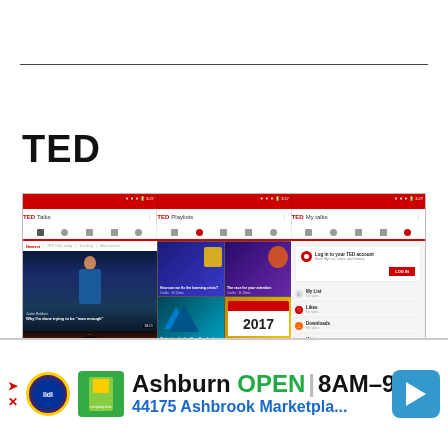TED
[Figure (screenshot): Screenshot of the TED app showing three panels: TED Talks (left with video thumbnails including Justin Baldoni 'Why I'm done trying to be man enough' and Carrie Kay 'Get comfortable with being uncomfortable'), TED Playlists (middle with grid of 8 playlist thumbnails including 'How can we fix the learning crisis?', 'The race for your attention', 'Motivation for the New Year', 'Most popular TED Talks of 2017', '10 guiding principles for leaders', 'TED deep cuts vol. 1'), and TED My Talks (right with login prompt and menu items: My List, Likes, Downloads, History)]
[Figure (screenshot): Advertisement banner for Lidl store showing: Ashburn OPEN 8AM-9PM, 44175 Ashbrook Marketpla... with Lidl logo, green product image, and navigation arrow icon]